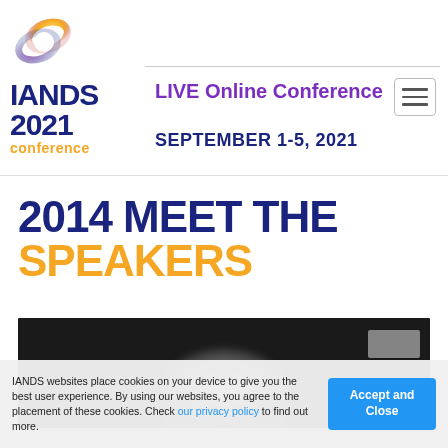[Figure (logo): IANDS 2021 Conference logo with circular ring graphic in gold/purple, text IANDS 2021 conference]
LIVE Online Conference
SEPTEMBER 1-5, 2021
2014 MEET THE SPEAKERS
[Figure (photo): Dark background photo, partially visible grayscale image of a person's head/shoulder silhouette against black background]
IANDS websites place cookies on your device to give you the best user experience. By using our websites, you agree to the placement of these cookies. Check our privacy policy to find out more.